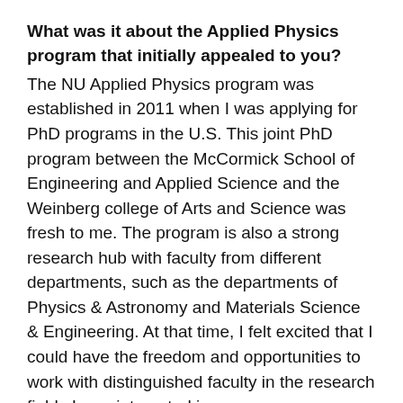What was it about the Applied Physics program that initially appealed to you?
The NU Applied Physics program was established in 2011 when I was applying for PhD programs in the U.S. This joint PhD program between the McCormick School of Engineering and Applied Science and the Weinberg college of Arts and Science was fresh to me. The program is also a strong research hub with faculty from different departments, such as the departments of Physics & Astronomy and Materials Science & Engineering. At that time, I felt excited that I could have the freedom and opportunities to work with distinguished faculty in the research fields I was interested in.
What was your background prior to entering the program?